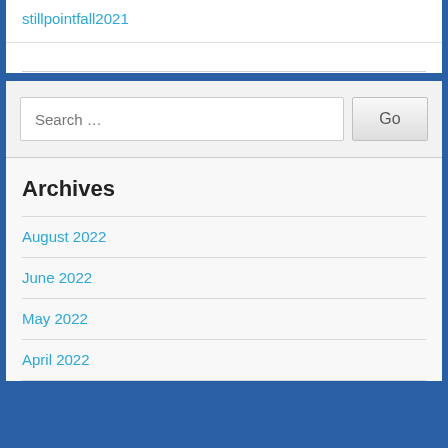stillpointfall2021
Archives
August 2022
June 2022
May 2022
April 2022